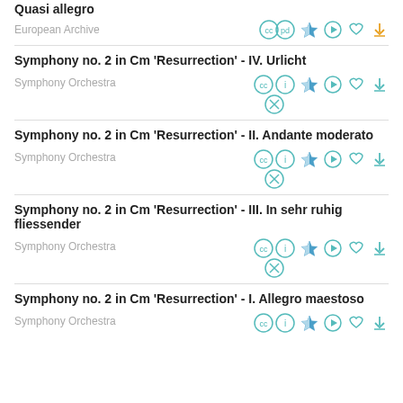Quasi allegro
European Archive
Symphony no. 2 in Cm 'Resurrection' - IV. Urlicht
Symphony Orchestra
Symphony no. 2 in Cm 'Resurrection' - II. Andante moderato
Symphony Orchestra
Symphony no. 2 in Cm 'Resurrection' - III. In sehr ruhig fliessender
Symphony Orchestra
Symphony no. 2 in Cm 'Resurrection' - I. Allegro maestoso
Symphony Orchestra